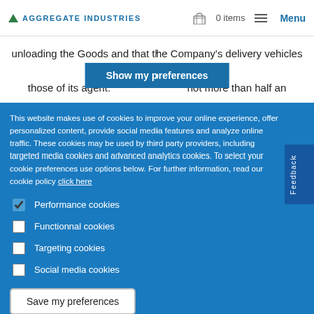AGGREGATE INDUSTRIES — 0 items  Menu
unloading the Goods and that the Company's delivery vehicles or those of its agent: not more than half an
Show my preferences
This website makes use of cookies to improve your online experience, offer personalized content, provide social media features and analyze online traffic. These cookies may be used by third party providers, including targeted media cookies and advanced analytics cookies. To select your cookie preferences use options below. For further information, read our cookie policy click here
Performance cookies
Functionnal cookies
Targeting cookies
Social media cookies
Save my preferences
Accept all cookies